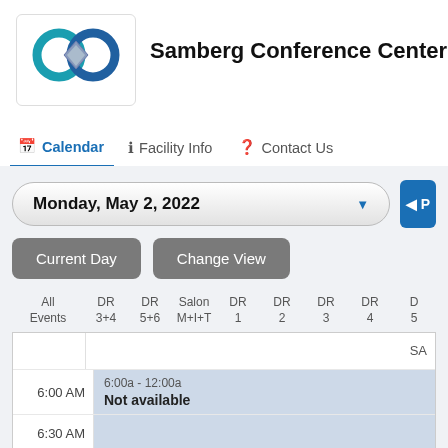[Figure (logo): Samberg Conference Center infinity loop logo with overlapping teal rings and a metallic diamond/shield element in the center]
Samberg Conference Center
Calendar  |  Facility Info  |  Contact Us (navigation tabs, Calendar is active)
Monday, May 2, 2022 (date dropdown)
Current Day  |  Change View (buttons)
All Events | DR 3+4 | DR 5+6 | Salon M+I+T | DR 1 | DR 2 | DR 3 | DR 4 | D 5 (column headers)
SA (partial label in grid header row)
6:00 AM
6:00a - 12:00a
Not available
6:30 AM